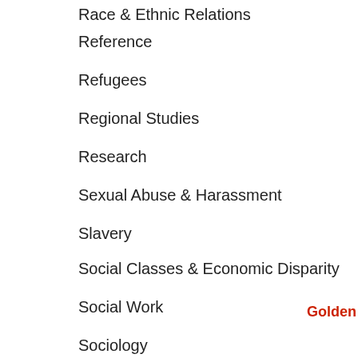Race & Ethnic Relations
Reference
Refugees
Regional Studies
Research
Sexual Abuse & Harassment
Slavery
Social Classes & Economic Disparity
Social Work
Sociology
Sociology of Religion
Statistics
Technology Studies
Violence in Society
Volunteer Work
Women's Studies
Golden Godde